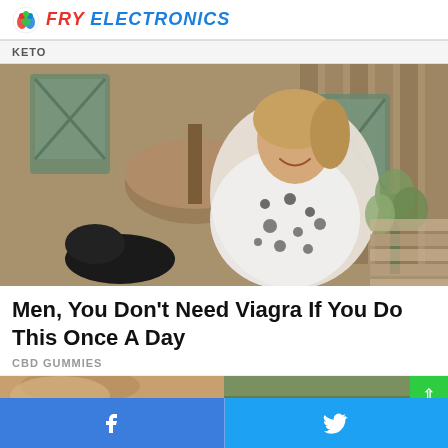FRY ELECTRONICS
KETO
[Figure (photo): Woman smiling outdoors, sitting near wooden patio furniture and chairs, wearing a black and white spotted/dalmatian print dress. Background shows wooden fence, garden chairs, a round table, and some greenery. A black cat is visible in the lower left area.]
Men, You Don't Need Viagra If You Do This Once A Day
CBD GUMMIES
[Figure (photo): Partial bottom image showing two cropped photos side by side - left appears to show a person with light/blonde hair, right appears to show an outdoor nature scene.]